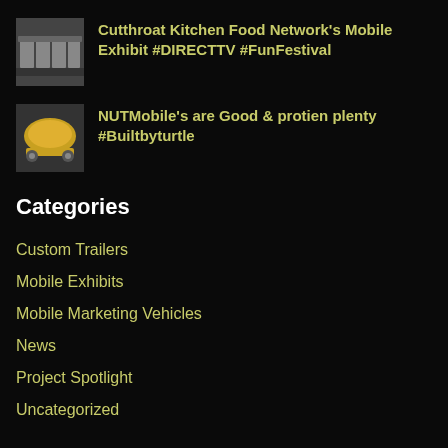Cutthroat Kitchen Food Network's Mobile Exhibit #DIRECTTV #FunFestival
NUTMobile's are Good & protien plenty #Builtbyturtle
Categories
Custom Trailers
Mobile Exhibits
Mobile Marketing Vehicles
News
Project Spotlight
Uncategorized